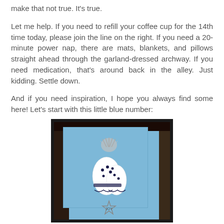make that not true. It's true.
Let me help. If you need to refill your coffee cup for the 14th time today, please join the line on the right. If you need a 20-minute power nap, there are mats, blankets, and pillows straight ahead through the garland-dressed archway. If you need medication, that's around back in the alley. Just kidding. Settle down.
And if you need inspiration, I hope you always find some here! Let's start with this little blue number:
[Figure (photo): A blue greeting card with a white snowman/angel ornament decoration featuring dots and a metallic tinsel topper, photographed outdoors against a dark fence background. A star shape with 'JOY' text is visible at the bottom.]